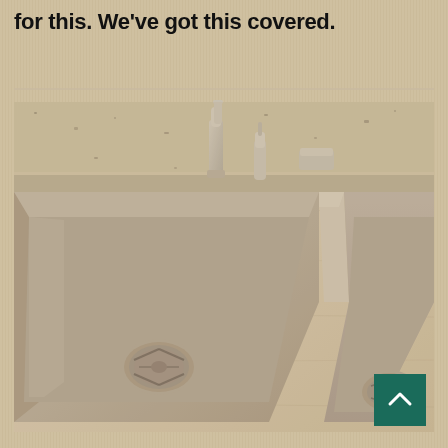...countertop will require a finished inside rim for this. We've got this covered.
[Figure (photo): Close-up photo of an undermount double-bowl stainless steel kitchen sink installed beneath a granite countertop, with a faucet and soap dispenser visible at the back, and drain strainers in each basin.]